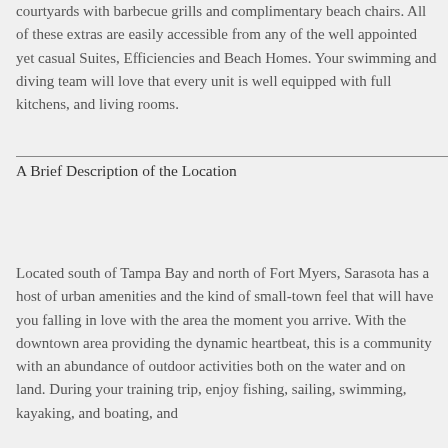courtyards with barbecue grills and complimentary beach chairs. All of these extras are easily accessible from any of the well appointed yet casual Suites, Efficiencies and Beach Homes. Your swimming and diving team will love that every unit is well equipped with full kitchens, and living rooms.
A Brief Description of the Location
Located south of Tampa Bay and north of Fort Myers, Sarasota has a host of urban amenities and the kind of small-town feel that will have you falling in love with the area the moment you arrive. With the downtown area providing the dynamic heartbeat, this is a community with an abundance of outdoor activities both on the water and on land. During your training trip, enjoy fishing, sailing, swimming, kayaking, and boating, and